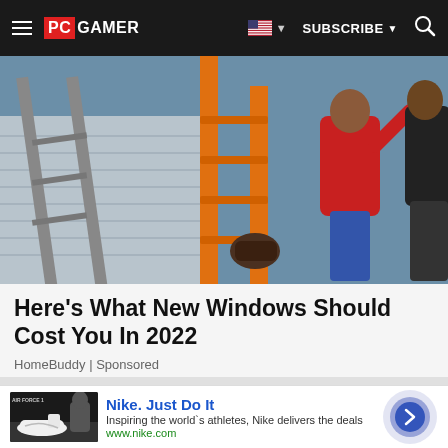PC GAMER | SUBSCRIBE
[Figure (photo): People installing a window on the exterior of a house. An orange ladder is in the foreground, a woman in a red top and jeans works on the window, and another worker in dark clothing is visible to the right.]
Here's What New Windows Should Cost You In 2022
HomeBuddy | Sponsored
[Figure (photo): Nike advertisement banner showing Air Force 1 sneakers with text: Nike. Just Do It. Inspiring the world's athletes, Nike delivers the deals. www.nike.com]